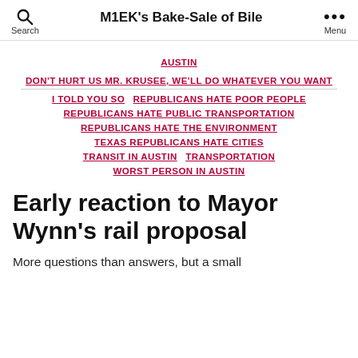Search  M1EK's Bake-Sale of Bile  Menu
AUSTIN
DON'T HURT US MR. KRUSEE, WE'LL DO WHATEVER YOU WANT
I TOLD YOU SO
REPUBLICANS HATE POOR PEOPLE
REPUBLICANS HATE PUBLIC TRANSPORTATION
REPUBLICANS HATE THE ENVIRONMENT
TEXAS REPUBLICANS HATE CITIES
TRANSIT IN AUSTIN
TRANSPORTATION
WORST PERSON IN AUSTIN
Early reaction to Mayor Wynn's rail proposal
More questions than answers, but a small